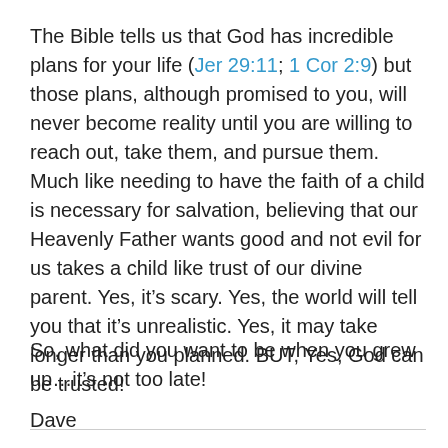The Bible tells us that God has incredible plans for your life (Jer 29:11; 1 Cor 2:9) but those plans, although promised to you, will never become reality until you are willing to reach out, take them, and pursue them. Much like needing to have the faith of a child is necessary for salvation, believing that our Heavenly Father wants good and not evil for us takes a child like trust of our divine parent. Yes, it’s scary. Yes, the world will tell you that it’s unrealistic. Yes, it may take longer than you planned. BUT, Yes, God can be trusted!
So, what did you want to be when you grew up…it’s not too late!
Dave